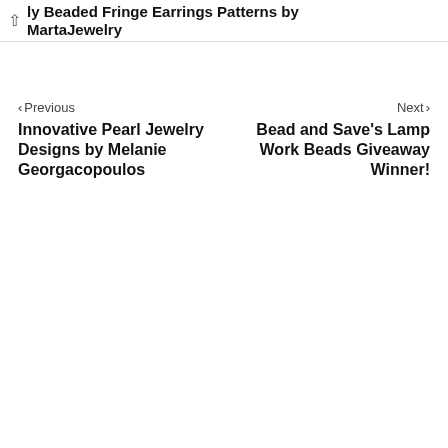ly Beaded Fringe Earrings Patterns by MartaJewelry
< Previous
Next >
Innovative Pearl Jewelry Designs by Melanie Georgacopoulos
Bead and Save's Lamp Work Beads Giveaway Winner!